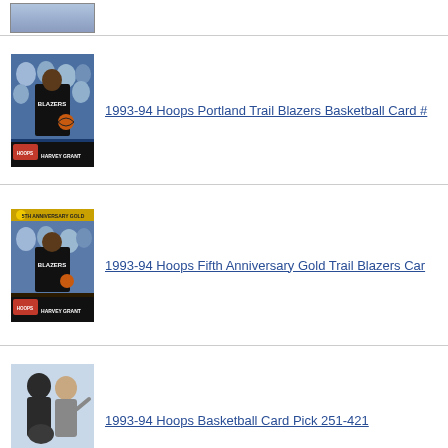[Figure (photo): Partial top view of a basketball card - only bottom portion visible]
[Figure (photo): 1993-94 Hoops Harvey Grant Portland Trail Blazers basketball card showing player in Blazers uniform dribbling]
1993-94 Hoops Portland Trail Blazers Basketball Card #
[Figure (photo): 1993-94 Hoops Fifth Anniversary Gold Harvey Grant Portland Trail Blazers basketball card]
1993-94 Hoops Fifth Anniversary Gold Trail Blazers Car
[Figure (photo): 1993-94 Hoops basketball card showing a coach pointing, card pick 251-421]
1993-94 Hoops Basketball Card Pick 251-421